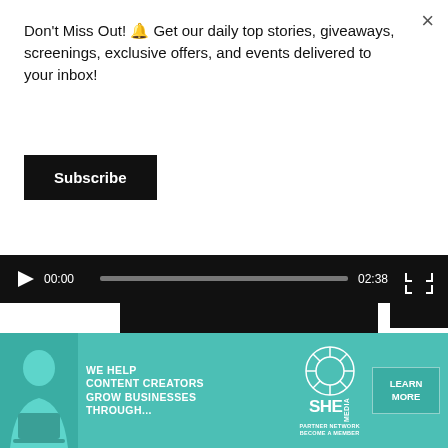×
Don't Miss Out! 🔔 Get our daily top stories, giveaways, screenings, exclusive offers, and events delivered to your inbox!
Subscribe
[Figure (screenshot): Video player control bar showing play button, current time 00:00, progress bar (gray), total duration 02:38, and fullscreen button on black background]
[Figure (screenshot): Black video frame area below the player controls]
[Figure (other): Dark rectangular overlay button in bottom right area]
[Figure (infographic): Teal advertisement banner: WE HELP CONTENT CREATORS GROW BUSINESSES THROUGH... with SHE MEDIA PARTNER NETWORK BECOME A MEMBER logo and LEARN MORE button]